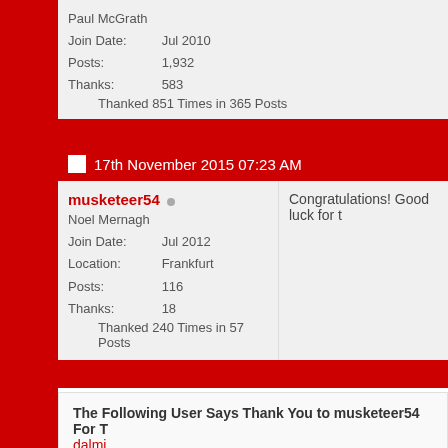Paul McGrath
Join Date: Jul 2010
Posts: 1,932
Thanks: 583
Thanked 851 Times in 365 Posts
Sweden would be the least hos
17th November 2015 07:23 AM
musketeer54
Noel Mernagh
Join Date: Jul 2012
Location: Frankfurt
Posts: 116
Thanks: 18
Thanked 240 Times in 57 Posts
Congratulations! Good luck for t
The Following User Says Thank You to musketeer54 For T
dalmi
17th November 2015 11:13 AM